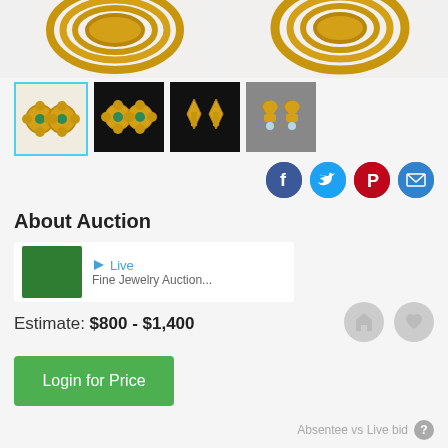[Figure (photo): Close-up photo of two gold earrings shown side by side at top of page]
[Figure (photo): Four thumbnail images of gold flower earrings; first selected with blue border, second and third on black background, fourth on gray background]
[Figure (infographic): Social sharing icons: Facebook (blue), Twitter (blue), Pinterest (red), Email (blue)]
About Auction
[Figure (photo): Small auction house thumbnail with Live label and auction title text partially visible]
Estimate:  $800 - $1,400
[Figure (infographic): Two circular action icons (home and heart) on right side]
Login for Price
Absentee vs Live bid